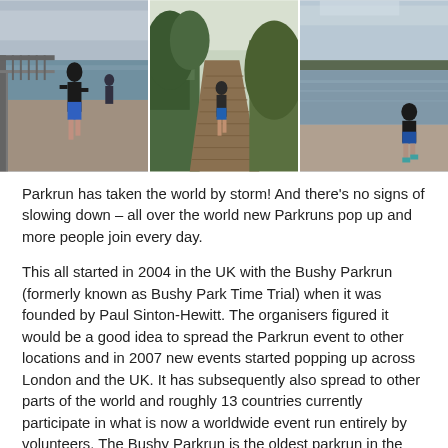[Figure (photo): Three side-by-side outdoor running photos: left shows a runner in blue shorts on a bridge/path near water, middle shows a runner on a wooden boardwalk path through greenery, right shows a runner by a lake/water with cloudy sky.]
Parkrun has taken the world by storm! And there's no signs of slowing down – all over the world new Parkruns pop up and more people join every day.
This all started in 2004 in the UK with the Bushy Parkrun (formerly known as Bushy Park Time Trial) when it was founded by Paul Sinton-Hewitt. The organisers figured it would be a good idea to spread the Parkrun event to other locations and in 2007 new events started popping up across London and the UK. It has subsequently also spread to other parts of the world and roughly 13 countries currently participate in what is now a worldwide event run entirely by volunteers. The Bushy Parkrun is the oldest parkrun in the world.